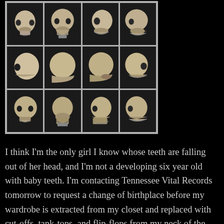[Figure (photo): A 4x3 grid of black and white photographs showing human skulls from various angles (frontal, three-quarter, side/lateral views), displayed on a light gray background grid layout.]
I think I'm the only girl I know whose teeth are falling out of her head, and I'm not a developing six year old with baby teeth. I'm contacting Tennessee Vital Records tomorrow to request a change of birthplace before my wardrobe is extracted from my closet and replaced with cut-offs, tank-tops, and flip-flops from my neck of the woods fashion.